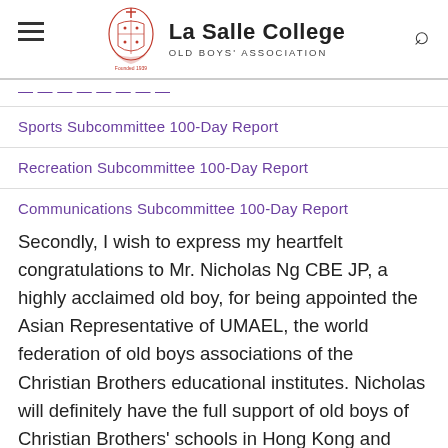La Salle College OLD BOYS' ASSOCIATION
Sports Subcommittee 100-Day Report
Recreation Subcommittee 100-Day Report
Communications Subcommittee 100-Day Report
Secondly, I wish to express my heartfelt congratulations to Mr. Nicholas Ng CBE JP, a highly acclaimed old boy, for being appointed the Asian Representative of UMAEL, the world federation of old boys associations of the Christian Brothers educational institutes. Nicholas will definitely have the full support of old boys of Christian Brothers' schools in Hong Kong and hopefully we can achieve really something more for the Christian Brothers' Heritage.